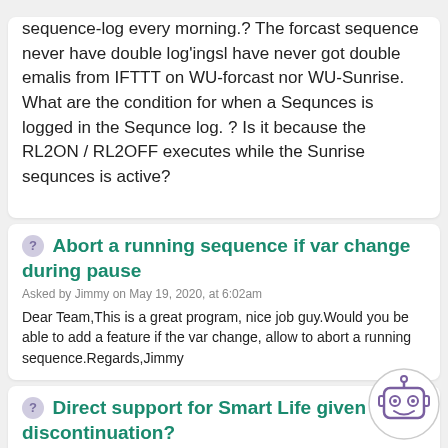sequence-log every morning.? The forcast sequence never have double log'ings| have never got double emalis from IFTTT on WU-forcast nor WU-Sunrise. What are the condition for when a Sequnces is logged in the Sequnce log. ? Is it because the RL2ON / RL2OFF executes while the Sunrise sequnces is active?
Abort a running sequence if var change during pause
Asked by Jimmy on May 19, 2020, at 6:02am
Dear Team,This is a great program, nice job guy.Would you be able to add a feature if the var change, allow to abort a running sequence.Regards,Jimmy
Direct support for Smart Life given IFTTT discontinuation?
Asked by kranix on May 10, 2020, at 11:54am (edited on Jul 2020, at 11:14pm)
Tuya are discontinuing support in IFTTT for their Smart Life devices. This takes effect on May 26 lo...